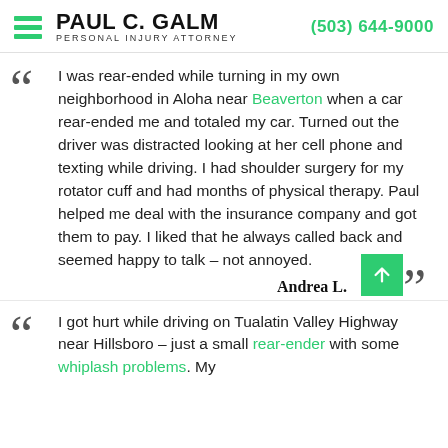PAUL C. GALM PERSONAL INJURY ATTORNEY (503) 644-9000
I was rear-ended while turning in my own neighborhood in Aloha near Beaverton when a car rear-ended me and totaled my car. Turned out the driver was distracted looking at her cell phone and texting while driving. I had shoulder surgery for my rotator cuff and had months of physical therapy. Paul helped me deal with the insurance company and got them to pay. I liked that he always called back and seemed happy to talk – not annoyed.
Andrea L.
I got hurt while driving on Tualatin Valley Highway near Hillsboro – just a small rear-ender with some whiplash problems. My